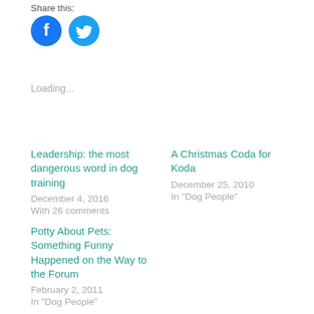Share this:
[Figure (illustration): Facebook and Twitter share icon buttons (blue circles with white icons)]
Loading...
Leadership: the most dangerous word in dog training
December 4, 2016
With 26 comments
A Christmas Coda for Koda
December 25, 2010
In "Dog People"
Potty About Pets: Something Funny Happened on the Way to the Forum
February 2, 2011
In "Dog People"